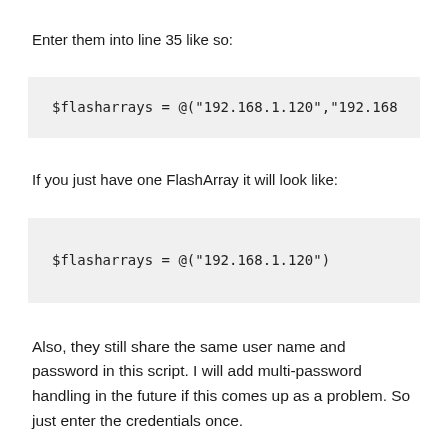Enter them into line 35 like so:
$flasharrays = @("192.168.1.120","192.168...
If you just have one FlashArray it will look like:
$flasharrays = @("192.168.1.120")
Also, they still share the same user name and password in this script. I will add multi-password handling in the future if this comes up as a problem. So just enter the credentials once.
The REST API version is now using 1.4, so any FlashArray